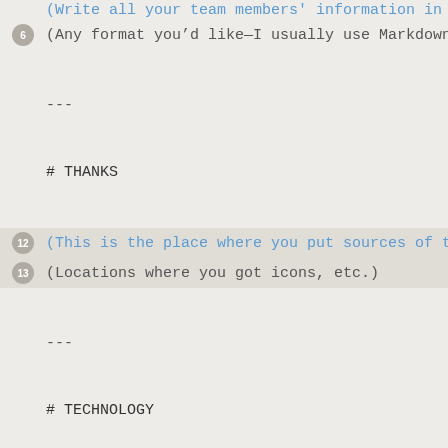(Any format you’d like—I usually use Markdown)
---
# THANKS
(This is the place where you put sources of thing
(Locations where you got icons, etc.)
---
# TECHNOLOGY
## Software
(Write what software you’re using)